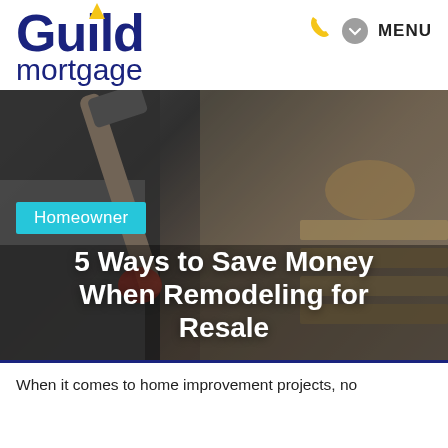[Figure (logo): Guild Mortgage logo with dark blue bold text and yellow caret accent]
MENU
[Figure (photo): Person holding a hammer on a construction site with lumber in the background, blurred background]
Homeowner
5 Ways to Save Money When Remodeling for Resale
When it comes to home improvement projects, no